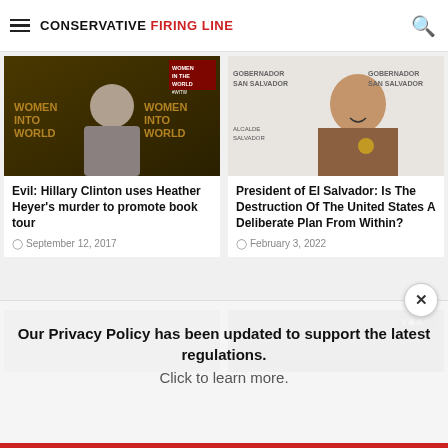CONSERVATIVE FIRING LINE
Related Articles
[Figure (photo): Hillary Clinton speaking at Women in the World event, dark background with gold text]
Evil: Hillary Clinton uses Heather Heyer's murder to promote book tour
September 12, 2017
[Figure (photo): President of El Salvador smiling at press event with Gobernador San Salvador backdrop]
President of El Salvador: Is The Destruction Of The United States A Deliberate Plan From Within?
February 3, 2022
[Figure (photo): Construction scaffolding image]
[Figure (photo): VOA news image, outdoor scene]
Our Privacy Policy has been updated to support the latest regulations. Click to learn more.